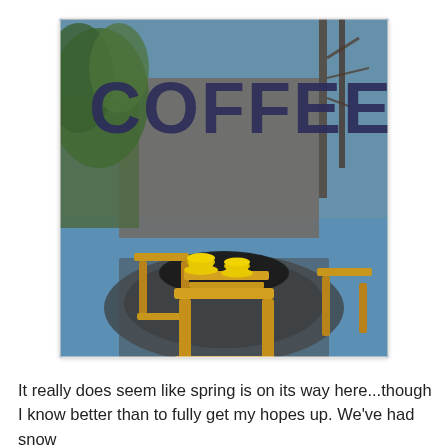[Figure (photo): Photo viewed through a café window glass with large dark blue/purple 'COFFEE' lettering on the glass. Behind the glass, yellow wooden chairs and a round dark table with two yellow espresso cups on saucers. Background shows trees, blue sky, and a cobblestone street reflected in the glass.]
It really does seem like spring is on its way here...though I know better than to fully get my hopes up. We've had snow